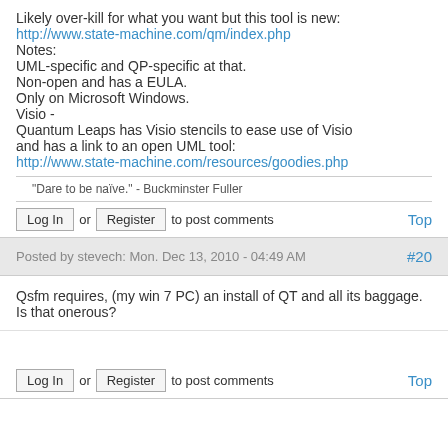Likely over-kill for what you want but this tool is new:
http://www.state-machine.com/qm/index.php
Notes:
UML-specific and QP-specific at that.
Non-open and has a EULA.
Only on Microsoft Windows.
Visio -
Quantum Leaps has Visio stencils to ease use of Visio and has a link to an open UML tool:
http://www.state-machine.com/resources/goodies.php
"Dare to be naïve." - Buckminster Fuller
Log In or Register to post comments Top
Posted by stevech: Mon. Dec 13, 2010 - 04:49 AM #20
Qsfm requires, (my win 7 PC) an install of QT and all its baggage. Is that onerous?
Log In or Register to post comments Top